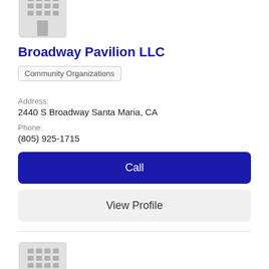[Figure (illustration): Gray building/office placeholder icon, partially cropped at top]
Broadway Pavilion LLC
Community Organizations
Address:
2440 S Broadway Santa Maria, CA
Phone:
(805) 925-1715
Call
View Profile
[Figure (illustration): Gray building/office placeholder icon]
Big Brothers / Big Sisters